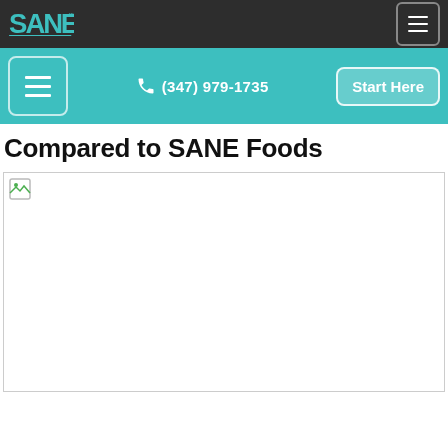SANE logo and navigation top bar with hamburger menu
(347) 979-1735 | Start Here
Compared to SANE Foods
[Figure (photo): Broken/unloaded image placeholder below the title]